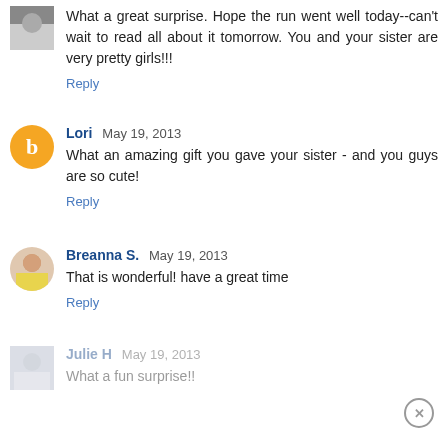What a great surprise. Hope the run went well today--can't wait to read all about it tomorrow. You and your sister are very pretty girls!!!
Reply
Lori May 19, 2013
What an amazing gift you gave your sister - and you guys are so cute!
Reply
Breanna S. May 19, 2013
That is wonderful! have a great time
Reply
Julie H May 19, 2013
What a fun surprise!!